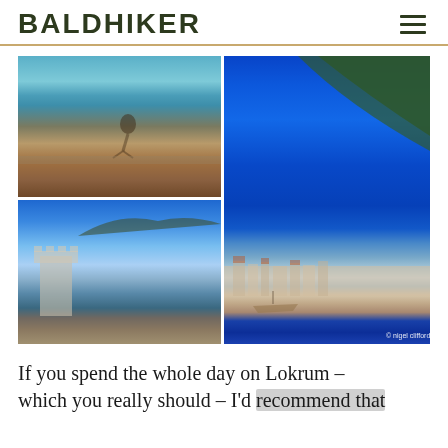BALDHIKER
[Figure (photo): Collage of four travel photos from Dubrovnik/Lokrum area: top-left shows a person relaxing by a stone sea wall with turquoise water; bottom-left shows a fortress tower and bay with mountains and blue sky; right large photo shows the coastal city of Dubrovnik from the water with green hillside and blue sea. Watermark: © nigel clifford]
If you spend the whole day on Lokrum – which you really should – I'd recommend that